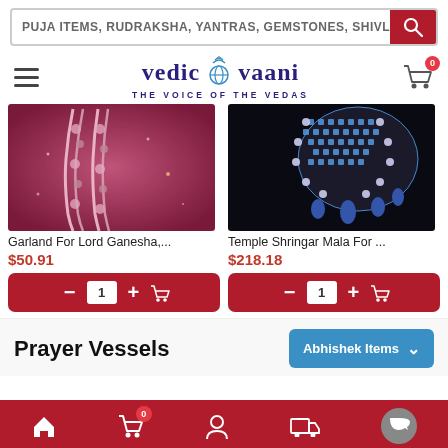PUJA ITEMS, RUDRAKSHA, YANTRAS, GEMSTONES, SHIVLING
[Figure (logo): Vedic Vaani logo with globe icon and tagline THE VOICE OF THE VEDAS]
[Figure (photo): Pink/purple background with decorative floral garlands for Lord Ganesha]
Garland For Lord Ganesha,...
$50.91
[Figure (photo): Black background with blue gem-studded Temple Shringar Mala jewelry piece]
Temple Shringar Mala For ...
$218.18
Prayer Vessels
Abhishek Items
[Figure (screenshot): Bottom navigation bar with home, cart (badge 0), account, shipping, and chat icons on dark red background]